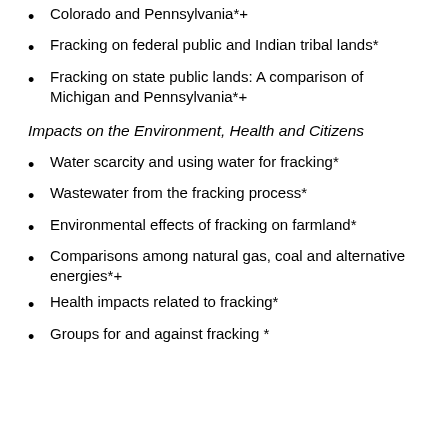Colorado and Pennsylvania*+
Fracking on federal public and Indian tribal lands*
Fracking on state public lands: A comparison of Michigan and Pennsylvania*+
Impacts on the Environment, Health and Citizens
Water scarcity and using water for fracking*
Wastewater from the fracking process*
Environmental effects of fracking on farmland*
Comparisons among natural gas, coal and alternative energies*+
Health impacts related to fracking*
Groups for and against fracking *